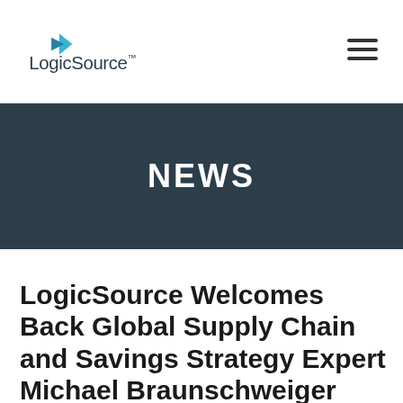LogicSource [logo]
NEWS
LogicSource Welcomes Back Global Supply Chain and Savings Strategy Expert Michael Braunschweiger